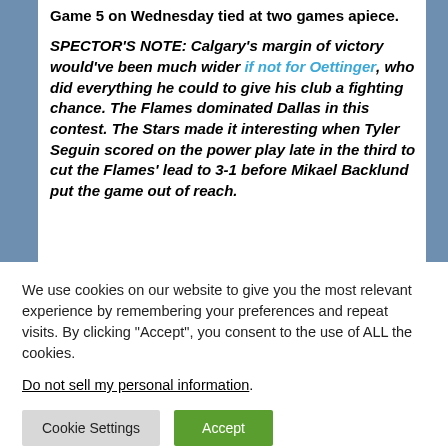Game 5 on Wednesday tied at two games apiece.
SPECTOR'S NOTE: Calgary's margin of victory would've been much wider if not for Oettinger, who did everything he could to give his club a fighting chance. The Flames dominated Dallas in this contest. The Stars made it interesting when Tyler Seguin scored on the power play late in the third to cut the Flames' lead to 3-1 before Mikael Backlund put the game out of reach.
We use cookies on our website to give you the most relevant experience by remembering your preferences and repeat visits. By clicking "Accept", you consent to the use of ALL the cookies.
Do not sell my personal information.
Cookie Settings
Accept